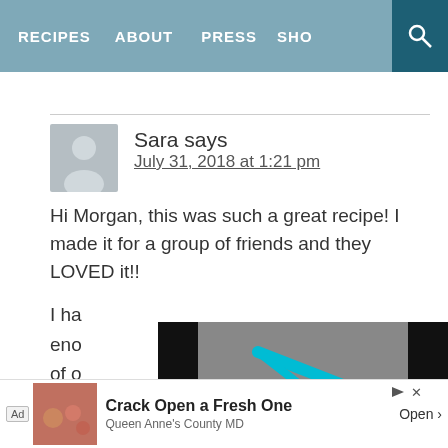RECIPES   ABOUT   PRESS   SHO[P]
Sara says
July 31, 2018 at 1:21 pm
Hi Morgan, this was such a great recipe! I made it for a group of friends and they LOVED it!!
I ha[d]...
eno[ugh]...
of o[ur]...
qu[ick]...
su[pper]...
[Figure (screenshot): Video player overlay with teal triangle play button icon on dark/grey background]
[Figure (infographic): Social share buttons: 1,497 count, heart icon, search icon]
[Figure (screenshot): Advertisement bar: Ad label, seafood image, 'Crack Open a Fresh One', Queen Anne's County MD, Open button, close X]